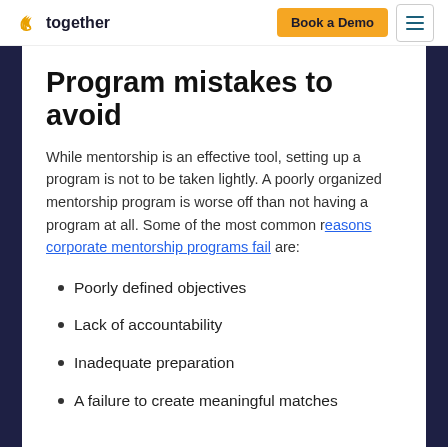together | Book a Demo
Program mistakes to avoid
While mentorship is an effective tool, setting up a program is not to be taken lightly. A poorly organized mentorship program is worse off than not having a program at all. Some of the most common reasons corporate mentorship programs fail are:
Poorly defined objectives
Lack of accountability
Inadequate preparation
A failure to create meaningful matches